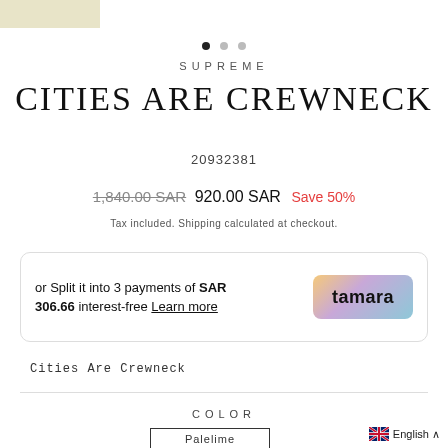[Figure (other): Product image thumbnail strip at top left]
[Figure (other): Carousel dot indicators: one filled, two empty]
SUPREME
CITIES ARE CREWNECK
20932381
1,840.00 SAR  920.00 SAR  Save 50%
Tax included. Shipping calculated at checkout.
or Split it into 3 payments of SAR 306.66 interest-free Learn more
[Figure (logo): Tamara logo with colorful gradient background]
Cities Are Crewneck
COLOR
Palelime
English